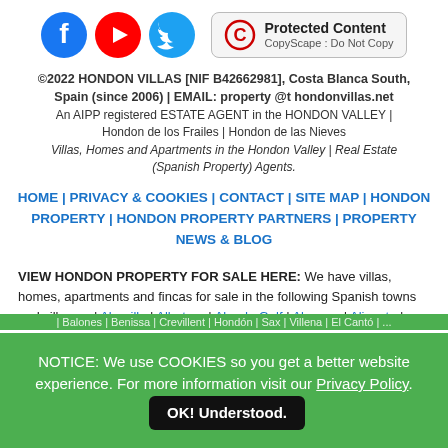[Figure (logo): Three social media icons: Facebook (blue circle with f), YouTube (red circle with play button), Twitter (blue circle with bird), followed by a CopyScape Protected Content badge with copyright symbol]
©2022 HONDON VILLAS [NIF B42662981], Costa Blanca South, Spain (since 2006) | EMAIL: property @t hondonvillas.net
An AIPP registered ESTATE AGENT in the HONDON VALLEY | Hondon de los Frailes | Hondon de las Nieves
Villas, Homes and Apartments in the Hondon Valley | Real Estate (Spanish Property) Agents.
HOME | PRIVACY & COOKIES | CONTACT | SITE MAP | HONDON PROPERTY | HONDON PROPERTY PARTNERS | PROPERTY NEWS & BLOG
VIEW HONDON PROPERTY FOR SALE HERE: We have villas, homes, apartments and fincas for sale in the following Spanish towns and villages: | Abanilla | Albatera | Alenda Golf | Alguena | Alicante | Aspe | ...
NOTICE: We use COOKIES so you get a better website experience. For more information visit our Privacy Policy. OK! Understood.